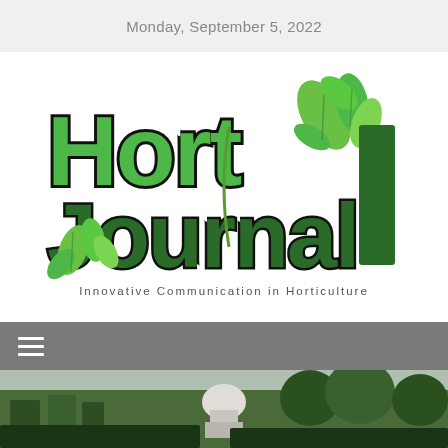Monday, September 5, 2022
[Figure (logo): Hort Journal Australia logo — large green bold text 'Hort' and 'Journal' with decorative green leaves, dark green vertical 'AUSTRALIA' text on right, tagline 'Innovative Communication in Horticulture']
[Figure (photo): Outdoor garden scene showing topiary hedges and a domed classical building in the background with trees]